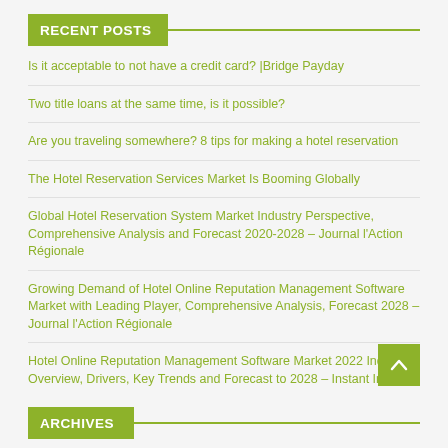RECENT POSTS
Is it acceptable to not have a credit card? |Bridge Payday
Two title loans at the same time, is it possible?
Are you traveling somewhere? 8 tips for making a hotel reservation
The Hotel Reservation Services Market Is Booming Globally
Global Hotel Reservation System Market Industry Perspective, Comprehensive Analysis and Forecast 2020-2028 – Journal l'Action Régionale
Growing Demand of Hotel Online Reputation Management Software Market with Leading Player, Comprehensive Analysis, Forecast 2028 – Journal l'Action Régionale
Hotel Online Reputation Management Software Market 2022 Industry Overview, Drivers, Key Trends and Forecast to 2028 – Instant Intervi…
ARCHIVES